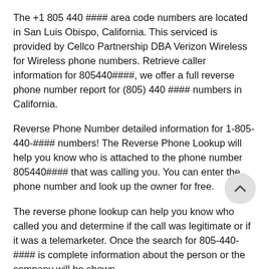The +1 805 440 #### area code numbers are located in San Luis Obispo, California. This serviced is provided by Cellco Partnership DBA Verizon Wireless for Wireless phone numbers. Retrieve caller information for 805440####, we offer a full reverse phone number report for (805) 440 #### numbers in California.
Reverse Phone Number detailed information for 1-805-440-#### numbers! The Reverse Phone Lookup will help you know who is attached to the phone number 805440#### that was calling you. You can enter the phone number and look up the owner for free.
The reverse phone lookup can help you know who called you and determine if the call was legitimate or if it was a telemarketer. Once the search for 805-440-#### is complete information about the person or the company will be shown.
The good news is, you can easily find out who the number 805-440-#### belongs to and much more.
Should you get a call from phone number 805-440-#### / 805440####. All you have to do is search the number on this page. As a result, you will get to find out more details about the phone